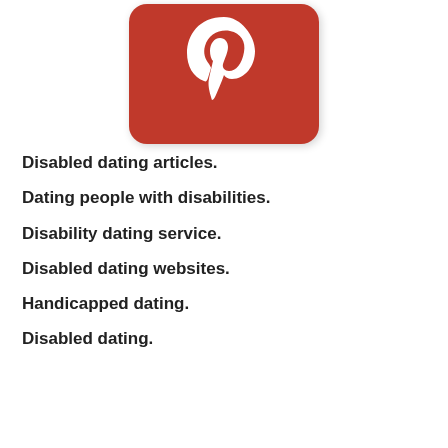[Figure (logo): Pinterest logo: red rounded rectangle with a white stylized P/pin icon in the center]
Disabled dating articles.
Dating people with disabilities.
Disability dating service.
Disabled dating websites.
Handicapped dating.
Disabled dating.